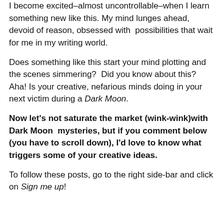I become excited–almost uncontrollable–when I learn something new like this. My mind lunges ahead, devoid of reason, obsessed with  possibilities that wait for me in my writing world.
Does something like this start your mind plotting and the scenes simmering?  Did you know about this? Aha! Is your creative, nefarious minds doing in your next victim during a Dark Moon.
Now let's not saturate the market (wink-wink)with Dark Moon  mysteries, but if you comment below (you have to scroll down), I'd love to know what triggers some of your creative ideas.
To follow these posts, go to the right side-bar and click on Sign me up!